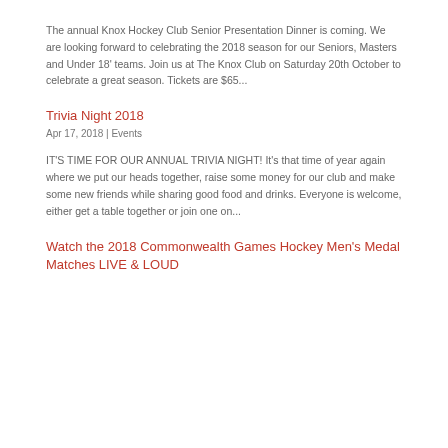The annual Knox Hockey Club Senior Presentation Dinner is coming. We are looking forward to celebrating the 2018 season for our Seniors, Masters and Under 18' teams. Join us at The Knox Club on Saturday 20th October to celebrate a great season. Tickets are $65...
Trivia Night 2018
Apr 17, 2018  |  Events
IT'S TIME FOR OUR ANNUAL TRIVIA NIGHT! It's that time of year again where we put our heads together, raise some money for our club and make some new friends while sharing good food and drinks. Everyone is welcome, either get a table together or join one on...
Watch the 2018 Commonwealth Games Hockey Men's Medal Matches LIVE & LOUD